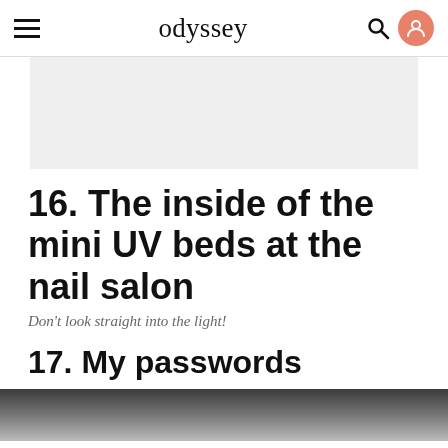odyssey
[Figure (other): Gray advertisement placeholder box]
16. The inside of the mini UV beds at the nail salon
Don't look straight into the light!
17. My passwords
[Figure (photo): Bottom strip of a photograph, partially visible]